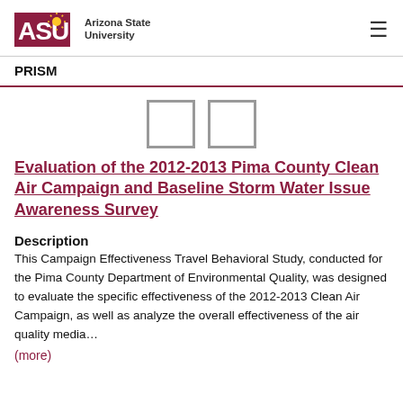ASU Arizona State University | PRISM
[Figure (other): Two thumbnail document preview boxes side by side]
Evaluation of the 2012-2013 Pima County Clean Air Campaign and Baseline Storm Water Issue Awareness Survey
Description
This Campaign Effectiveness Travel Behavioral Study, conducted for the Pima County Department of Environmental Quality, was designed to evaluate the specific effectiveness of the 2012-2013 Clean Air Campaign, as well as analyze the overall effectiveness of the air quality media…
(more)